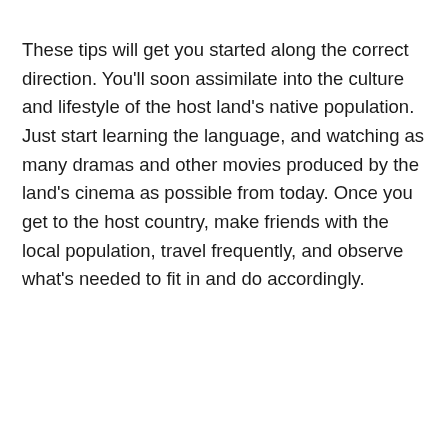These tips will get you started along the correct direction. You'll soon assimilate into the culture and lifestyle of the host land's native population. Just start learning the language, and watching as many dramas and other movies produced by the land's cinema as possible from today. Once you get to the host country, make friends with the local population, travel frequently, and observe what's needed to fit in and do accordingly.